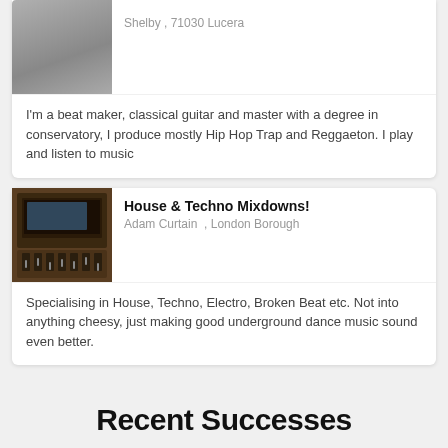Shelby , 71030 Lucera
[Figure (photo): Black and white photo of a person]
I'm a beat maker, classical guitar and master with a degree in conservatory, I produce mostly Hip Hop Trap and Reggaeton. I play and listen to music
[Figure (photo): Photo of a music studio with mixing board and equipment]
House & Techno Mixdowns!
Adam Curtain  , London Borough
Specialising in House, Techno, Electro, Broken Beat etc. Not into anything cheesy, just making good underground dance music sound even better.
Recent Successes